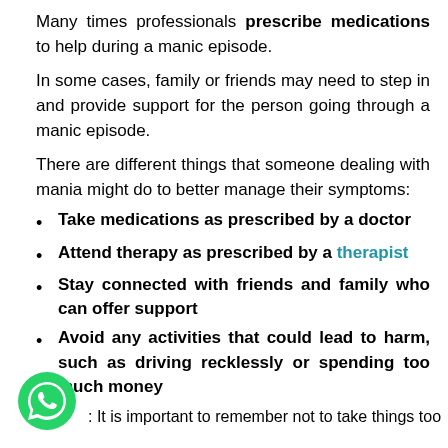Many times professionals prescribe medications to help during a manic episode.
In some cases, family or friends may need to step in and provide support for the person going through a manic episode.
There are different things that someone dealing with mania might do to better manage their symptoms:
Take medications as prescribed by a doctor
Attend therapy as prescribed by a therapist
Stay connected with friends and family who can offer support
Avoid any activities that could lead to harm, such as driving recklessly or spending too much money
: It is important to remember not to take things too